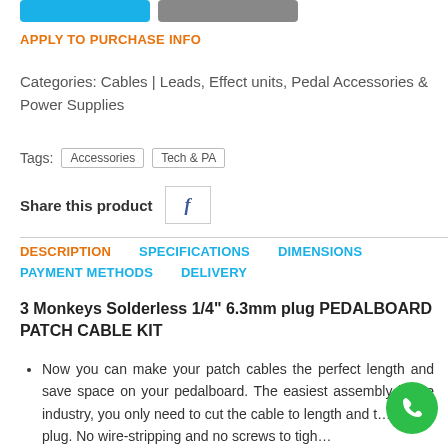APPLY TO PURCHASE INFO
Categories: Cables | Leads, Effect units, Pedal Accessories & Power Supplies
Tags: Accessories  Tech & PA
Share this product  f
DESCRIPTION   SPECIFICATIONS   DIMENSIONS   PAYMENT METHODS   DELIVERY
3 Monkeys Solderless 1/4" 6.3mm plug PEDALBOARD PATCH CABLE KIT
Now you can make your patch cables the perfect length and save space on your pedalboard. The easiest assembly in the industry, you only need to cut the cable to length and t... on the plug. No wire-stripping and no screws to tigh...